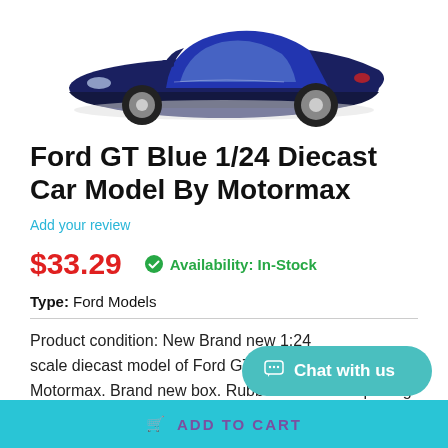[Figure (photo): Blue Ford GT diecast car model, viewed from front-right angle, shown against white background]
Ford GT Blue 1/24 Diecast Car Model By Motormax
Add your review
$33.29
Availability: In-Stock
Type: Ford Models
Product condition: New Brand new 1:24 scale diecast model of Ford GT Blue die cast car by Motormax. Brand new box. Rubber tires. Has opening doors. Made of diecast with some pl...
Chat with us
ADD TO CART